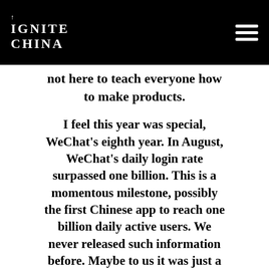IGNITE CHINA
not here to teach everyone how to make products.
I feel this year was special, WeChat's eighth year. In August, WeChat's daily login rate surpassed one billion. This is a momentous milestone, possibly the first Chinese app to reach one billion daily active users. We never released such information before. Maybe to us it was just a matter of time, but to a mobile